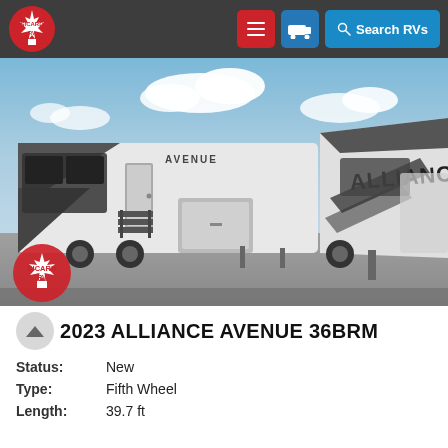Sicard RV — Navigation bar with logo, menu, and Search RVs button
[Figure (photo): Exterior side view of a 2023 Alliance Avenue 36BRM fifth-wheel RV, white with black graphic accents, parked on gravel. Sicard RV watermark logo in lower-left corner of photo.]
2023 ALLIANCE AVENUE 36BRM
| Attribute | Value |
| --- | --- |
| Status: | New |
| Type: | Fifth Wheel |
| Length: | 39.7 ft |